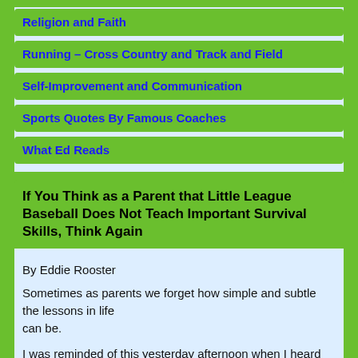Religion and Faith
Running – Cross Country and Track and Field
Self-Improvement and Communication
Sports Quotes By Famous Coaches
What Ed Reads
If You Think as a Parent that Little League Baseball Does Not Teach Important Survival Skills, Think Again
By Eddie Rooster
Sometimes as parents we forget how simple and subtle the lessons in life can be.
I was reminded of this yesterday afternoon when I heard the cheering of youngsters playing a Little League baseball game in the nearby city park. It is